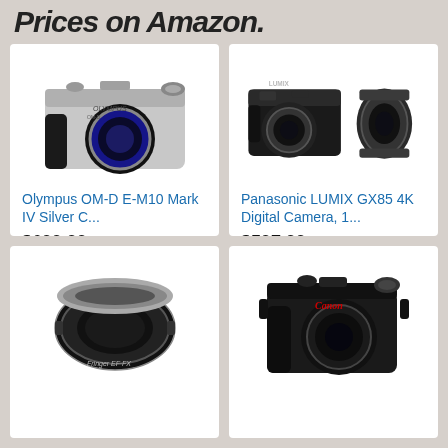Prices on Amazon.
[Figure (photo): Olympus OM-D E-M10 Mark IV Silver camera product photo]
Olympus OM-D E-M10 Mark IV Silver C...
$699.99 ✓prime
★★★★★ (223)
[Figure (photo): Panasonic LUMIX GX85 camera with two lenses product photo]
Panasonic LUMIX GX85 4K Digital Camera, 1...
$597.99 ✓prime
★★★★½ (724)
[Figure (photo): Fringer EF-FX lens adapter ring product photo]
[Figure (photo): Canon mirrorless camera product photo]